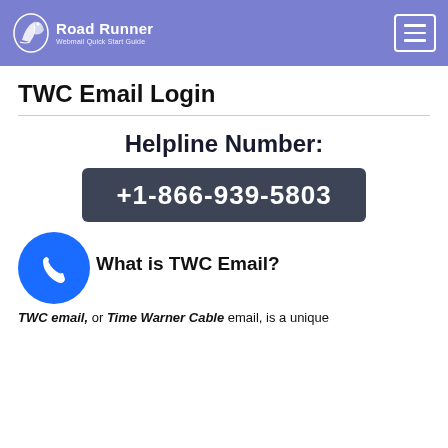Road Runner — Webmail Quick Start Guide
TWC Email Login
Helpline Number:
+1-866-939-5803
What is TWC Email?
TWC email, or Time Warner Cable email, is a unique